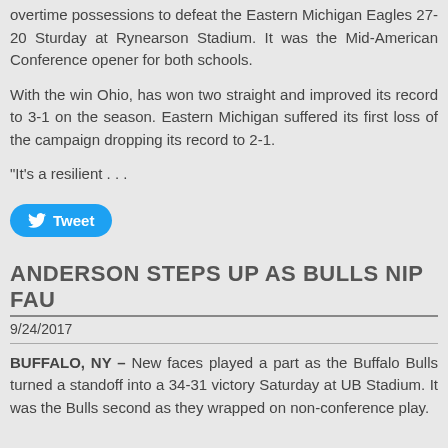overtime possessions to defeat the Eastern Michigan Eagles 27-20 Sturday at Rynearson Stadium. It was the Mid-American Conference opener for both schools.
With the win Ohio, has won two straight and improved its record to 3-1 on the season. Eastern Michigan suffered its first loss of the campaign dropping its record to 2-1.
"It's a resilient . . .
[Figure (other): Twitter Tweet button]
ANDERSON STEPS UP AS BULLS NIP FAU
9/24/2017
BUFFALO, NY – New faces played a part as the Buffalo Bulls turned a standoff into a 34-31 victory Saturday at UB Stadium. It was the Bulls second as they wrapped on non-conference play.